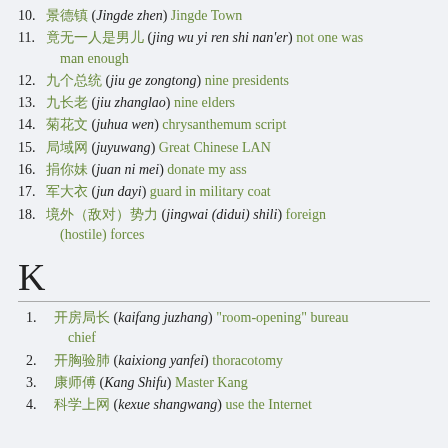10. 景德镇 (Jingde zhen) Jingde Town
11. 竟无一人是男儿 (jing wu yi ren shi nan'er) not one was man enough
12. 九个总统 (jiu ge zongtong) nine presidents
13. 九长老 (jiu zhanglao) nine elders
14. 菊花文 (juhua wen) chrysanthemum script
15. 局域网 (juyuwang) Great Chinese LAN
16. 捐你妹 (juan ni mei) donate my ass
17. 军大衣 (jun dayi) guard in military coat
18. 境外（敌对）势力 (jingwai (didui) shili) foreign (hostile) forces
K
1. 开房局长 (kaifang juzhang) "room-opening" bureau chief
2. 开胸验肺 (kaixiong yanfei) thoracotomy
3. 康师傅 (Kang Shifu) Master Kang
4. 科学上网 (kexue shangwang) use the Internet